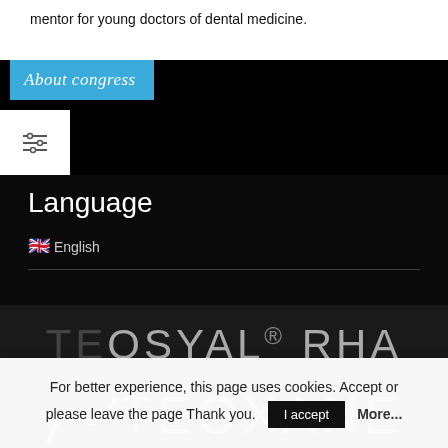mentor for young doctors of dental medicine.
About congress
[Figure (other): Filter/settings icon (horizontal sliders)]
Language
🇬🇧 English
[Figure (logo): TEOSYAL® RHA logo in grey tones on dark background]
[Figure (logo): TEOXANE logo with arc graphic on dark background, partially visible]
For better experience, this page uses cookies. Accept or please leave the page Thank you.
I accept
More...